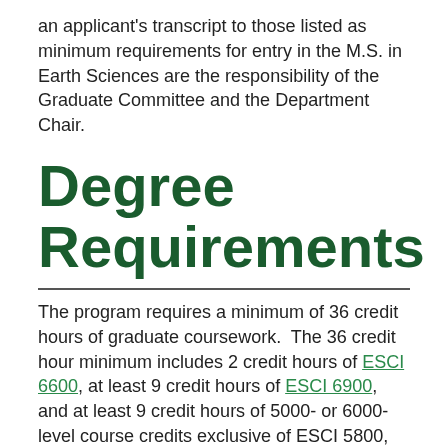an applicant's transcript to those listed as minimum requirements for entry in the M.S. in Earth Sciences are the responsibility of the Graduate Committee and the Department Chair.
Degree Requirements
The program requires a minimum of 36 credit hours of graduate coursework. The 36 credit hour minimum includes 2 credit hours of ESCI 6600, at least 9 credit hours of ESCI 6900, and at least 9 credit hours of 5000- or 6000-level course credits exclusive of ESCI 5800, ESCI 6800, GEOL 6800, and GEOG 6800. The total degree hours must consist of at least 18 credit hours at the 6000 level, including ESCI 6600 and ESCI 6900. NOTE: Additional credit hours of ESCI